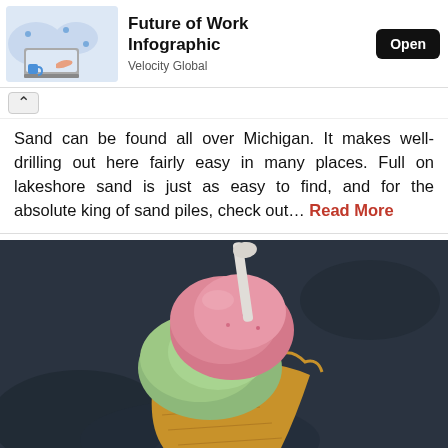[Figure (infographic): Ad banner: Future of Work Infographic by Velocity Global with Open button and illustration of person at laptop with map background]
Sand can be found all over Michigan. It makes well-drilling out here fairly easy in many places. Full on lakeshore sand is just as easy to find, and for the absolute king of sand piles, check out… Read More
[Figure (photo): Close-up photo of an ice cream cone with two scoops — pink/strawberry and green/pistachio — with a plastic spoon, on a dark blurred background]